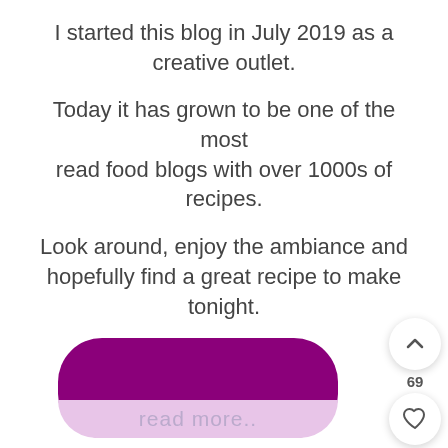I started this blog in July 2019 as a creative outlet.
Today it has grown to be one of the most read food blogs with over 1000s of recipes.
Look around, enjoy the ambiance and hopefully find a great recipe to make tonight.
[Figure (screenshot): UI floating action buttons: up arrow button, number 69, heart button, and purple search button on right side]
[Figure (screenshot): Purple rounded read more button partially visible at bottom of page, with lighter pink lower section showing 'read more..' text]